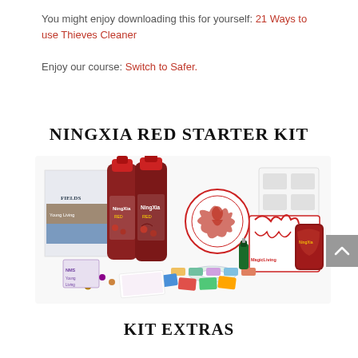You might enjoy downloading this for yourself: 21 Ways to use Thieves Cleaner
Enjoy our course: Switch to Safer.
NINGXIA RED STARTER KIT
[Figure (photo): Product photo of the NingXia Red Starter Kit showing two red wine-style bottles of NingXia Red juice, various small product boxes, sample packets, essential oil bottles, and a book, all arranged together on a white background.]
KIT EXTRAS